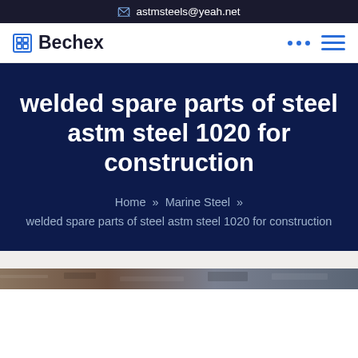astmsteels@yeah.net
Bechex
welded spare parts of steel astm steel 1020 for construction
Home » Marine Steel » welded spare parts of steel astm steel 1020 for construction
[Figure (photo): Bottom strip showing a partial photograph, likely of steel/construction materials]